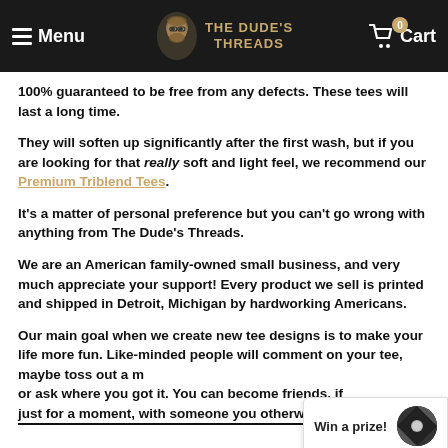Menu | THE DUDE'S THREADS | Cart 0
100% guaranteed to be free from any defects. These tees will last a long time.
They will soften up significantly after the first wash, but if you are looking for that really soft and light feel, we recommend our Premium Triblend Tees.
It's a matter of personal preference but you can't go wrong with anything from The Dude's Threads.
We are an American family-owned small business, and very much appreciate your support! Every product we sell is printed and shipped in Detroit, Michigan by hardworking Americans.
Our main goal when we create new tee designs is to make your life more fun. Like-minded people will comment on your tee, maybe toss out a movie quote or ask where you got it. You can become friends, if just for a moment, with someone you otherwise would